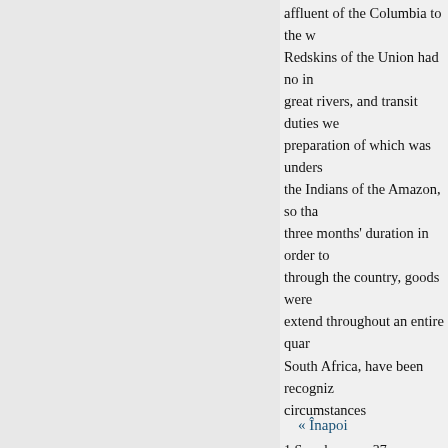affluent of the Columbia to the w... Redskins of the Union had no i... great rivers, and transit duties we... preparation of which was unders... the Indians of the Amazon, so th... three months' duration in order to... through the country, goods were... extend throughout an entire quar... South Africa, have been recogniz... circumstances
1 See above, p. 37.
2 Carl Rau, Archiv für Anthropol...
3 Lafitau, Mœurs des sauvages a...
4 Von Martius, Ethnographie, vo...
5 Waitz, Anthropologie, vol. ii. p...
« Înapoi